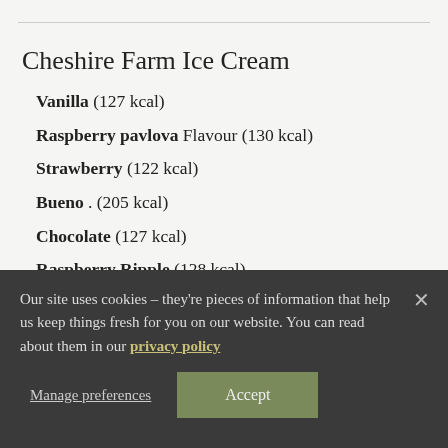Cheshire Farm Ice Cream
Vanilla (127 kcal)
Raspberry pavlova Flavour (130 kcal)
Strawberry (122 kcal)
Bueno . (205 kcal)
Chocolate (127 kcal)
Raspberry Ripple (128 kcal)
Our site uses cookies – they’re pieces of information that help us keep things fresh for you on our website. You can read about them in our privacy policy
Manage preferences
Accept